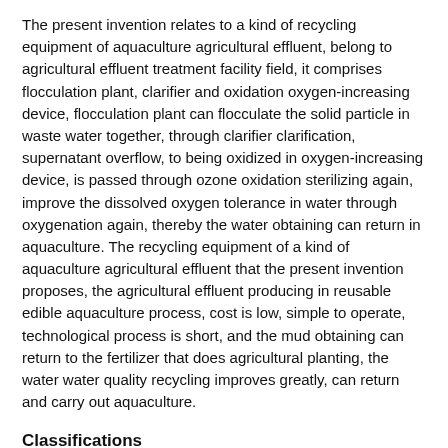The present invention relates to a kind of recycling equipment of aquaculture agricultural effluent, belong to agricultural effluent treatment facility field, it comprises flocculation plant, clarifier and oxidation oxygen-increasing device, flocculation plant can flocculate the solid particle in waste water together, through clarifier clarification, supernatant overflow, to being oxidized in oxygen-increasing device, is passed through ozone oxidation sterilizing again, improve the dissolved oxygen tolerance in water through oxygenation again, thereby the water obtaining can return in aquaculture. The recycling equipment of a kind of aquaculture agricultural effluent that the present invention proposes, the agricultural effluent producing in reusable edible aquaculture process, cost is low, simple to operate, technological process is short, and the mud obtaining can return to the fertilizer that does agricultural planting, the water water quality recycling improves greatly, can return and carry out aquaculture.
Classifications
C02F9/00  Multistage treatment of water, waste